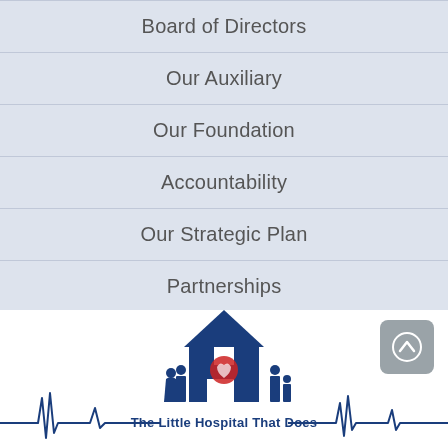Board of Directors
Our Auxiliary
Our Foundation
Accountability
Our Strategic Plan
Partnerships
[Figure (logo): The Little Hospital That Does logo with a house/hospital building icon in dark blue containing a red heart with hands, and family figures beside it, with heartbeat lines on either side of the text]